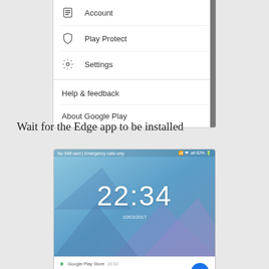[Figure (screenshot): Android Google Play Store menu showing Account, Play Protect, Settings options followed by Help & feedback and About Google Play, with a scrollbar on the right]
Wait for the Edge app to be installed
[Figure (screenshot): Android phone lock screen showing time 22:34 with a Google Play Store notification at the bottom: Microsoft Edge Successfully installed, with the Edge 'e' icon]